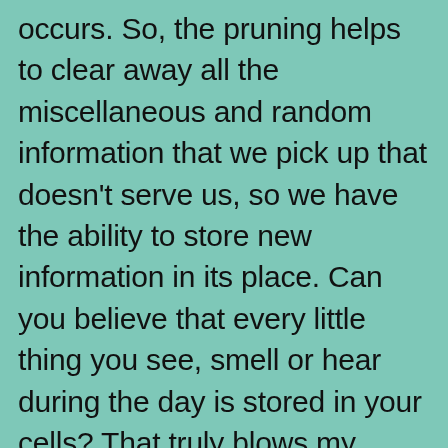occurs. So, the pruning helps to clear away all the miscellaneous and random information that we pick up that doesn't serve us, so we have the ability to store new information in its place. Can you believe that every little thing you see, smell or hear during the day is stored in your cells? That truly blows my mind! The bottom line is, if you don't get enough quality sleep, you carry all that junk into the new day and that is why you might feel groggy when you wake up. Who